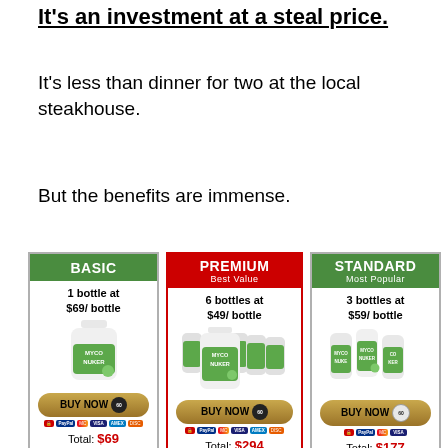It's an investment at a steal price.
It's less than dinner for two at the local steakhouse.
But the benefits are immense.
| BASIC | PREMIUM Best Value | STANDARD Most Popular |
| --- | --- | --- |
| 1 bottle at $69/ bottle | 6 bottles at $49/ bottle | 3 bottles at $59/ bottle |
| BUY NOW | BUY NOW | BUY NOW |
| Total: $69 | Total: $294 | Total: $177 |